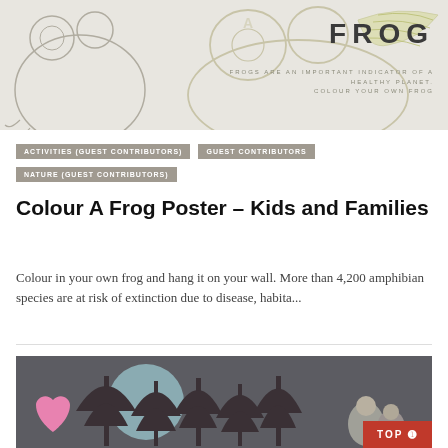[Figure (illustration): Frog coloring poster banner image with line-art frog sketch on left, stylized frog illustration on right, text 'FROG' and 'FROGS ARE AN IMPORTANT INDICATOR OF A HEALTHY PLANET. COLOUR YOUR OWN FROG' on grey background]
ACTIVITIES (GUEST CONTRIBUTORS)
GUEST CONTRIBUTORS
NATURE (GUEST CONTRIBUTORS)
Colour A Frog Poster – Kids and Families
Colour in your own frog and hang it on your wall. More than 4,200 amphibian species are at risk of extinction due to disease, habita...
[Figure (illustration): Dark grey illustrated scene with trees, pink hearts, blue moon, and children figures on dark background with TOP button overlay]